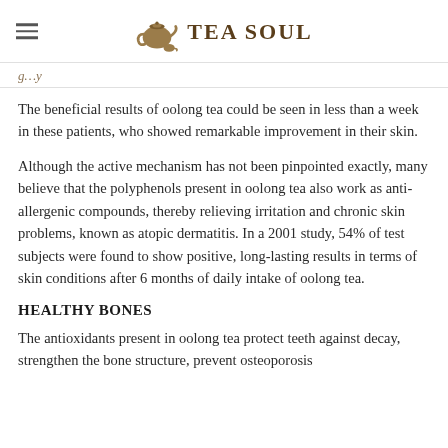Tea Soul
g…y
The beneficial results of oolong tea could be seen in less than a week in these patients, who showed remarkable improvement in their skin.
Although the active mechanism has not been pinpointed exactly, many believe that the polyphenols present in oolong tea also work as anti-allergenic compounds, thereby relieving irritation and chronic skin problems, known as atopic dermatitis. In a 2001 study, 54% of test subjects were found to show positive, long-lasting results in terms of skin conditions after 6 months of daily intake of oolong tea.
HEALTHY BONES
The antioxidants present in oolong tea protect teeth against decay, strengthen the bone structure, prevent osteoporosis